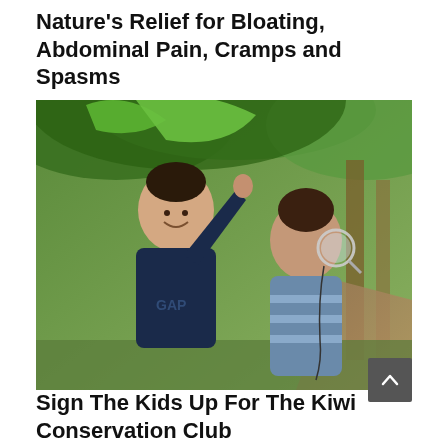Nature’s Relief for Bloating, Abdominal Pain, Cramps and Spasms
[Figure (photo): Two boys standing outdoors in a forested area. The taller boy on the left wearing a dark navy blue hoodie is holding up and examining something small. The shorter boy on the right wearing a blue and grey striped hoodie is looking through a magnifying lens. Green foliage and trees are visible in the background.]
Sign The Kids Up For The Kiwi Conservation Club